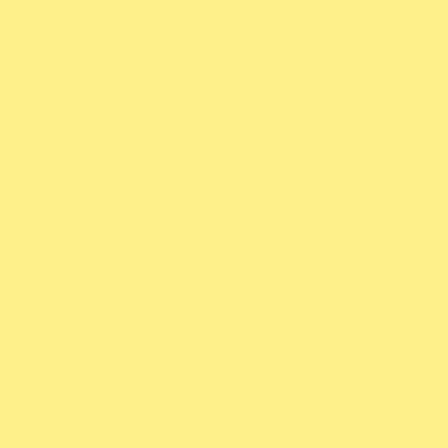and scuba diving agencies and from cave paintings to ecolog
Sign Up Today and Join Our Mailing L
First Name:
Last Name:
Email Address: *
Enter the letters shown above:*
Join Now
Email Marketing by VerticalResponse
Sign the Mulege Guestbook